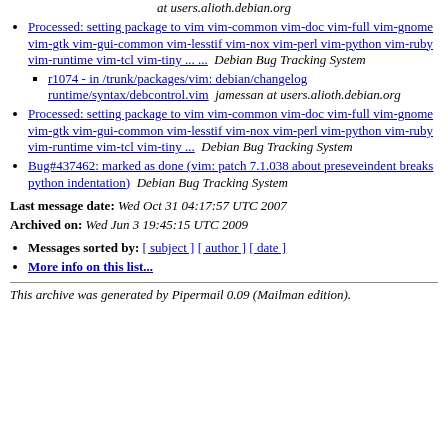(continuation) at users.alioth.debian.org
Processed: setting package to vim vim-common vim-doc vim-full vim-gnome vim-gtk vim-gui-common vim-lesstif vim-nox vim-perl vim-python vim-ruby vim-runtime vim-tcl vim-tiny ... ...   Debian Bug Tracking System
r1074 - in /trunk/packages/vim: debian/changelog runtime/syntax/debcontrol.vim   jamessan at users.alioth.debian.org
Processed: setting package to vim vim-common vim-doc vim-full vim-gnome vim-gtk vim-gui-common vim-lesstif vim-nox vim-perl vim-python vim-ruby vim-runtime vim-tcl vim-tiny ...   Debian Bug Tracking System
Bug#437462: marked as done (vim: patch 7.1.038 about preseveindent breaks python indentation)   Debian Bug Tracking System
Last message date: Wed Oct 31 04:17:57 UTC 2007
Archived on: Wed Jun 3 19:45:15 UTC 2009
Messages sorted by: [ subject ] [ author ] [ date ]
More info on this list...
This archive was generated by Pipermail 0.09 (Mailman edition).